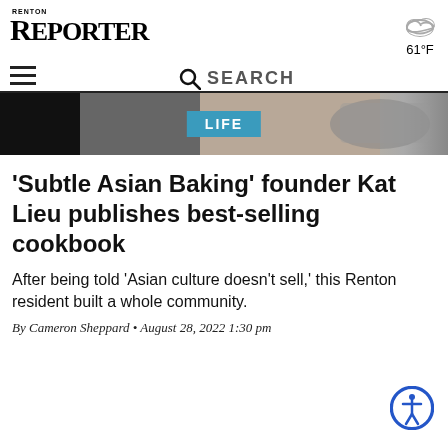RENTON REPORTER
61°F
SEARCH
[Figure (photo): Hero image showing baking/cooking scene with dark and warm tones, with a teal 'LIFE' category badge overlaid in the center]
'Subtle Asian Baking' founder Kat Lieu publishes best-selling cookbook
After being told 'Asian culture doesn't sell,' this Renton resident built a whole community.
By Cameron Sheppard • August 28, 2022 1:30 pm